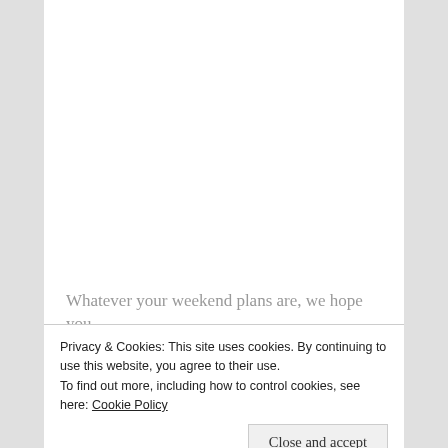[Figure (photo): Close-up photo of red and crimson autumn leaves, densely packed, with some blue glass ornaments visible in the upper right corner. White cursive watermark text reads 'Tails Around the Ranch' overlaid on the lower right of the image.]
Whatever your weekend plans are, we hope you
Privacy & Cookies: This site uses cookies. By continuing to use this website, you agree to their use.
To find out more, including how to control cookies, see here: Cookie Policy
Close and accept
[Figure (photo): Partial bottom strip showing a small animal or similar subject, cropped.]